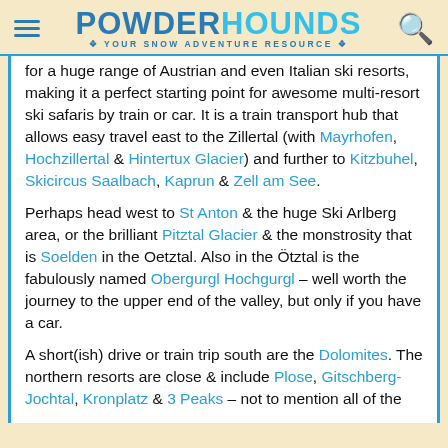POWDERHOUNDS — YOUR SNOW ADVENTURE RESOURCE
for a huge range of Austrian and even Italian ski resorts, making it a perfect starting point for awesome multi-resort ski safaris by train or car. It is a train transport hub that allows easy travel east to the Zillertal (with Mayrhofen, Hochzillertal & Hintertux Glacier) and further to Kitzbuhel, Skicircus Saalbach, Kaprun & Zell am See.
Perhaps head west to St Anton & the huge Ski Arlberg area, or the brilliant Pitztal Glacier & the monstrosity that is Soelden in the Oetztal. Also in the Ötztal is the fabulously named Obergurgl Hochgurgl – well worth the journey to the upper end of the valley, but only if you have a car.
A short(ish) drive or train trip south are the Dolomites. The northern resorts are close & include Plose, Gitschberg-Jochtal, Kronplatz & 3 Peaks – not to mention all of the